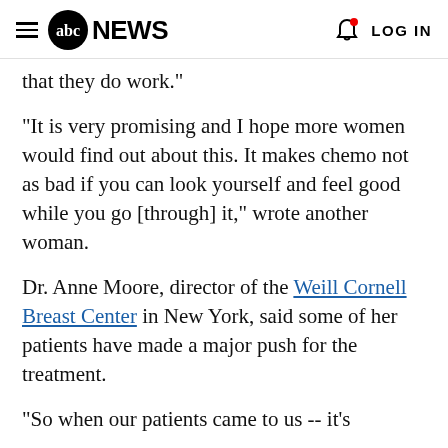abc NEWS | LOG IN
that they do work."
"It is very promising and I hope more women would find out about this. It makes chemo not as bad if you can look yourself and feel good while you go [through] it," wrote another woman.
Dr. Anne Moore, director of the Weill Cornell Breast Center in New York, said some of her patients have made a major push for the treatment.
"So when our patients came to us -- it's